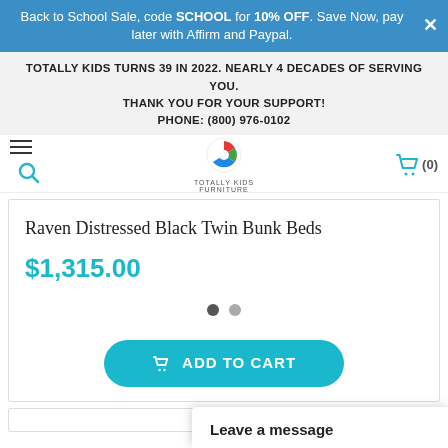Back to School Sale, code SCHOOL for 10% OFF. Save Now, pay later with Affirm and Paypal.
TOTALLY KIDS TURNS 39 IN 2022. NEARLY 4 DECADES OF SERVING YOU. THANK YOU FOR YOUR SUPPORT! PHONE: (800) 976-0102
[Figure (logo): Totally Kids Furniture logo with colorful circular icon]
Raven Distressed Black Twin Bunk Beds
$1,315.00
ADD TO CART
Leave a message